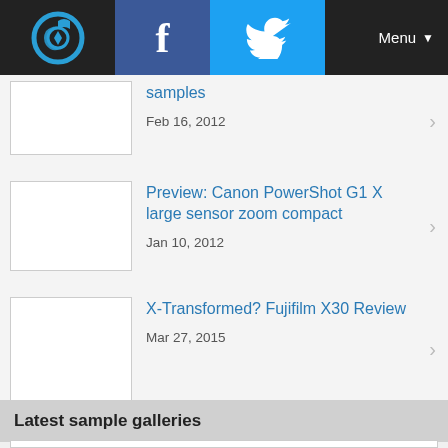Navigation bar with logo, Facebook, Twitter, Menu
samples — Feb 16, 2012
Preview: Canon PowerShot G1 X large sensor zoom compact — Jan 10, 2012
X-Transformed? Fujifilm X30 Review — Mar 27, 2015
Latest sample galleries
[Figure (photo): Gallery thumbnail image placeholder]